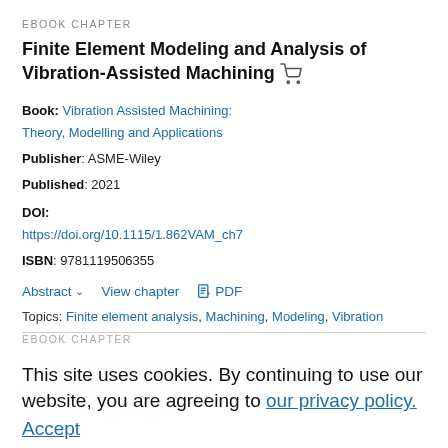EBOOK CHAPTER
Finite Element Modeling and Analysis of Vibration-Assisted Machining
Book: Vibration Assisted Machining: Theory, Modelling and Applications
Publisher: ASME-Wiley
Published: 2021
DOI: https://doi.org/10.1115/1.862VAM_ch7
ISBN: 9781119506355
Abstract  View chapter  PDF
Topics: Finite element analysis, Machining, Modeling, Vibration
EBOOK CHAPTER
This site uses cookies. By continuing to use our website, you are agreeing to our privacy policy. Accept